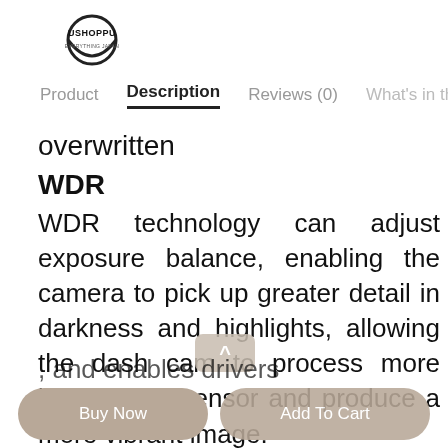[Figure (logo): USHOPPU logo — circular icon with brand name text]
Product   Description   Reviews (0)   What's in the b
overwritten
WDR
WDR technology can adjust exposure balance, enabling the camera to pick up greater detail in darkness and highlights, allowing the dash cam to process more light on the sensor and produce a more vibrant image.
130deg Wide Angle
130deg Wide Angle allows a larger viewing , and enables drivers to see 4 lanes of traffic.